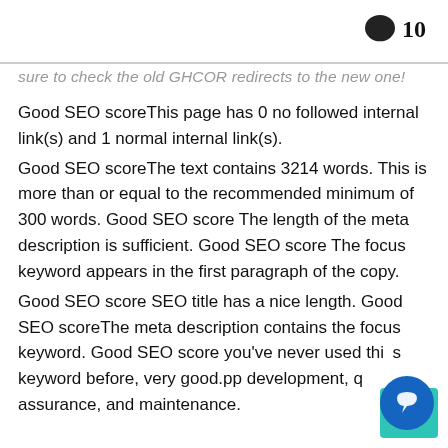💬 10
sure to check the old GHCOR redirects to the new one!
Good SEO scoreThis page has 0 no followed internal link(s) and 1 normal internal link(s).
Good SEO scoreThe text contains 3214 words. This is more than or equal to the recommended minimum of 300 words. Good SEO score The length of the meta description is sufficient. Good SEO score The focus keyword appears in the first paragraph of the copy.
Good SEO score SEO title has a nice length. Good SEO scoreThe meta description contains the focus keyword. Good SEO score you've never used this keyword before, very good.pp development, quality assurance, and maintenance.